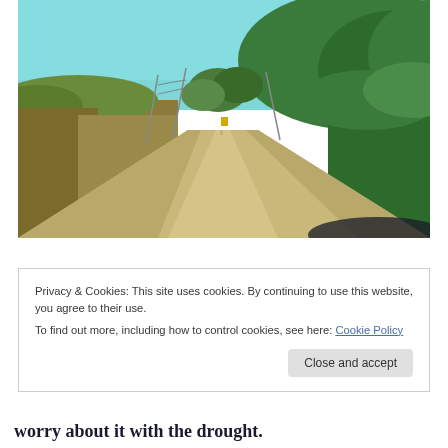[Figure (photo): A gravel road stretching straight into the distance, flanked by green trees and bushes on both sides. Light blue sky above. View from driver's perspective looking down the road.]
Privacy & Cookies: This site uses cookies. By continuing to use this website, you agree to their use.
To find out more, including how to control cookies, see here: Cookie Policy
Close and accept
worry about it with the drought.